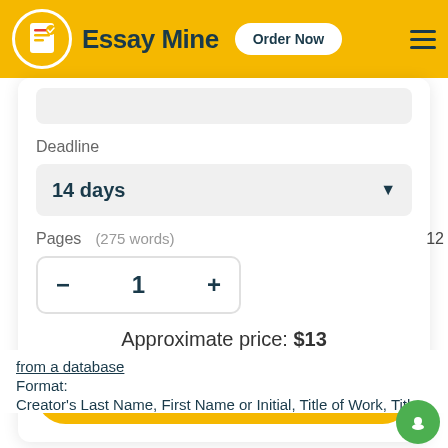Essay Mine  Order Now
Deadline
14 days
Pages    (275 words)
− 1 +
Approximate price: $13
Continue to order
from a database
Format:
Creator's Last Name, First Name or Initial, Title of Work, Title